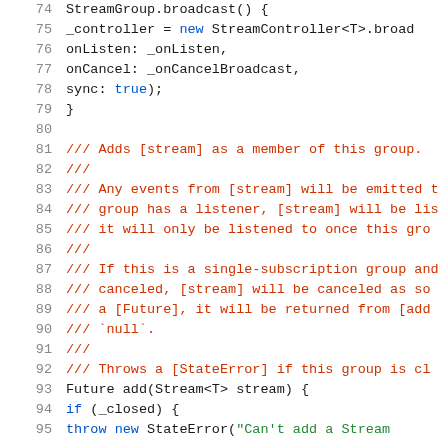[Figure (screenshot): Source code viewer showing Dart/Flutter code lines 74-95. Line numbers in grey on left, code with syntax highlighting: blue for keywords (new, if, throw), red/brown for comments (///), green for strings. Shows StreamGroup.broadcast() constructor and add() method with documentation comments.]